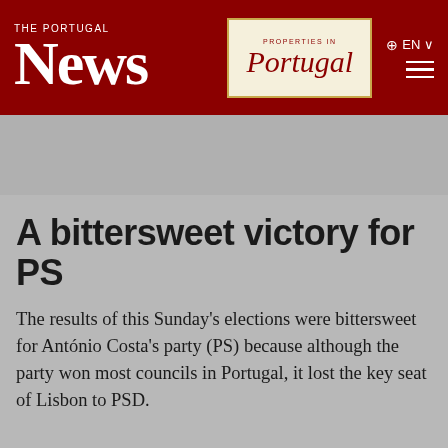THE PORTUGAL News
[Figure (logo): Properties in Portugal advertisement logo box]
EN
Available in all languages ...
Home / Politics / A bittersweet victory for PS
A bittersweet victory for PS
The results of this Sunday's elections were bittersweet for António Costa's party (PS) because although the party won most councils in Portugal, it lost the key seat of Lisbon to PSD.